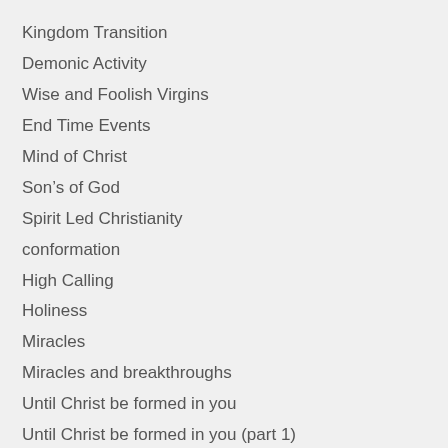Kingdom Transition
Demonic Activity
Wise and Foolish Virgins
End Time Events
Mind of Christ
Son's of God
Spirit Led Christianity
conformation
High Calling
Holiness
Miracles
Miracles and breakthroughs
Until Christ be formed in you
Until Christ be formed in you (part 1)
I don't believe it!
Storms
Encouragement